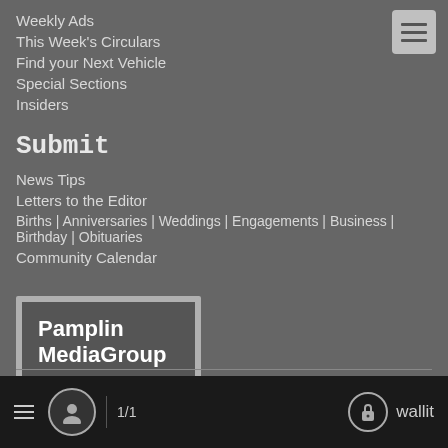Weekly Ads
This Week's Circulars
Find your Next Vehicle
Special Sections
Insiders
Submit
News Tips
Letters to the Editor
Births | Anniversaries | Weddings | Engagements | Business | Birthday | Obituaries
Community Calendar
[Figure (logo): Pamplin Media Group logo — dark grey speech bubble box with white bold text reading 'Pamplin MediaGroup', inside a light grey border frame]
≡  [profile icon]  1/1  [lock icon]  wallit